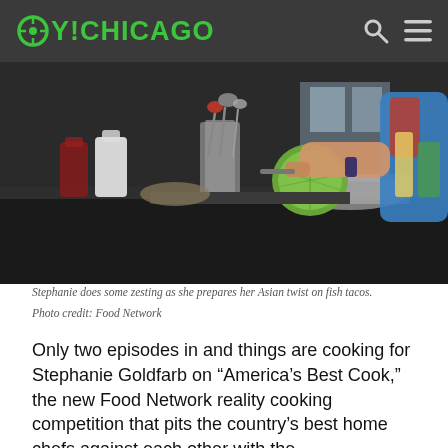OY!CHICAGO
[Figure (photo): A woman in a blue and red tank top zesting or cutting a cabbage/lime on a kitchen counter with cooking utensils, pots, bowls, and condiment bottles visible in the background.]
Stephanie does some zesting as she prepares her Asian twist on fish tacos.
Photo credit: Food Network
Only two episodes in and things are cooking for Stephanie Goldfarb on “America’s Best Cook,” the new Food Network reality cooking competition that pits the country’s best home chefs against each other with the